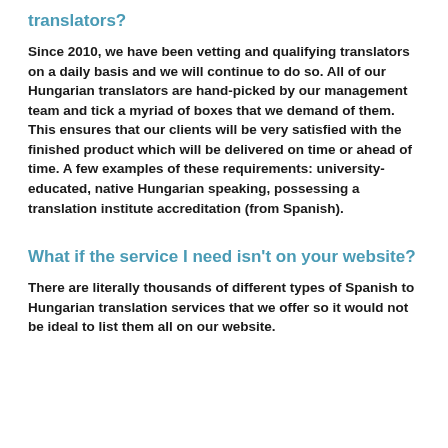translators?
Since 2010, we have been vetting and qualifying translators on a daily basis and we will continue to do so. All of our Hungarian translators are hand-picked by our management team and tick a myriad of boxes that we demand of them. This ensures that our clients will be very satisfied with the finished product which will be delivered on time or ahead of time. A few examples of these requirements: university-educated, native Hungarian speaking, possessing a translation institute accreditation (from Spanish).
What if the service I need isn't on your website?
There are literally thousands of different types of Spanish to Hungarian translation services that we offer so it would not be ideal to list them all on our website.